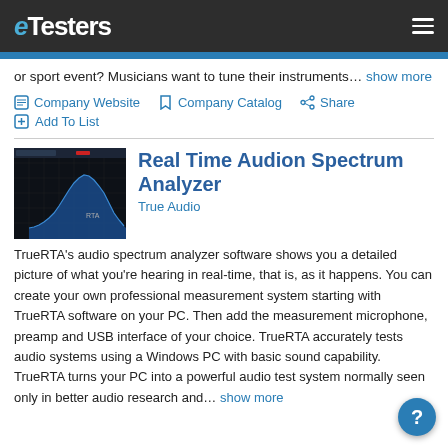eTesters
or sport event? Musicians want to tune their instruments… show more
Company Website   Company Catalog   Share
Add To List
Real Time Audion Spectrum Analyzer
True Audio
[Figure (screenshot): Screenshot of Real Time Audio Spectrum Analyzer software showing frequency spectrum with dark background and blue/red waveform]
TrueRTA's audio spectrum analyzer software shows you a detailed picture of what you're hearing in real-time, that is, as it happens. You can create your own professional measurement system starting with TrueRTA software on your PC. Then add the measurement microphone, preamp and USB interface of your choice. TrueRTA accurately tests audio systems using a Windows PC with basic sound capability. TrueRTA turns your PC into a powerful audio test system normally seen only in better audio research and… show more